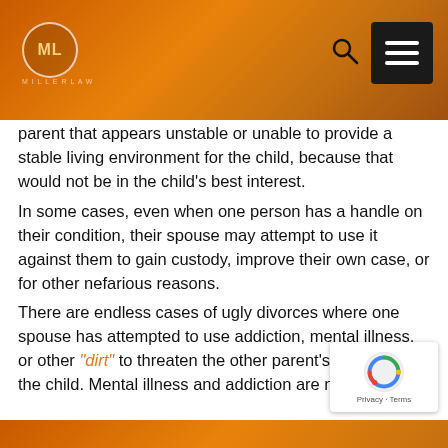ML [logo] — navigation header with search and menu
parent that appears unstable or unable to provide a stable living environment for the child, because that would not be in the child's best interest.
In some cases, even when one person has a handle on their condition, their spouse may attempt to use it against them to gain custody, improve their own case, or for other nefarious reasons.
There are endless cases of ugly divorces where one spouse has attempted to use addiction, mental illness, or other “dirt” to threaten the other parent’s access to the child. Mental illness and addiction are not weapons– they are serious issues.
That’s why it is so important for you to take the time to learn about these conditions and how they may affect your divorce and custody proceedings. You have to be prepared for anything, and after years of experience in the industry, I can tell you that truly means anything.